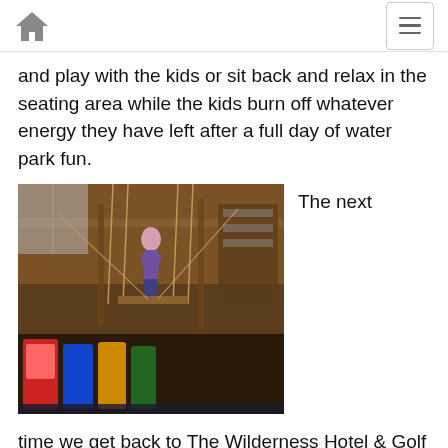[home icon] [menu button]
and play with the kids or sit back and relax in the seating area while the kids burn off whatever energy they have left after a full day of water park fun.
[Figure (photo): Indoor ropes course at Wilderness Hotel & Golf Resort, showing a person climbing on ropes above an arcade area with colorful game machines below, surrounded by wooden beams and natural decor.]
The next time we get back to The Wilderness Hotel & Golf Resort we'd definitely like to check out some of the indoor attractions we didn't have time to explore. The Northern Lights Sky Ropes Course looked super fun,